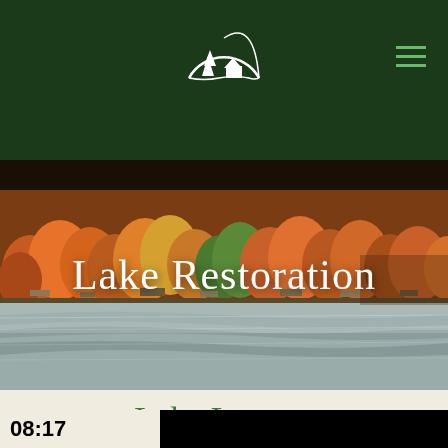Navigation bar with logo and hamburger menu
[Figure (photo): Aerial photograph of a lake surrounded by autumn foliage trees in shades of orange, red, yellow and brown. Houses and docks visible along the shoreline. Lake water visible in the lower portion of the image.]
Lake Restoration
Lake Lovers,
08:17